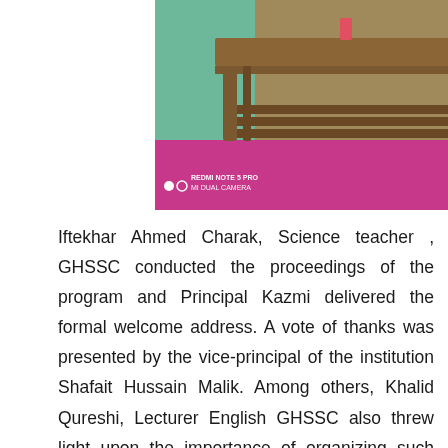[Figure (photo): A photograph showing a wooden table with slatted lower shelf on a pink/magenta carpet, with a teal/green wall in the background. A partial circular logo reading 'Govt. Hr. Se...' is visible on the right. Watermark reads 'REDMI NOTE 5 PRO MI DUAL CAMERA'.]
Iftekhar Ahmed Charak, Science teacher , GHSSC conducted the proceedings of the program and Principal Kazmi delivered the formal welcome address. A vote of thanks was presented by the vice-principal of the institution Shafait Hussain Malik. Among others, Khalid Qureshi, Lecturer English GHSSC also threw light upon the importance of organizing such programs. Principal Imtiaz Hussain Shah recalled the services of MB Mughal, the founder and erstwhile president of PEEDS. He said that M B